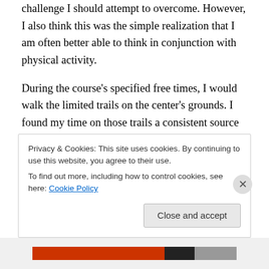challenge I should attempt to overcome. However, I also think this was the simple realization that I am often better able to think in conjunction with physical activity.
During the course's specified free times, I would walk the limited trails on the center's grounds. I found my time on those trails a consistent source of insight and revelation. I would walk and circle and mix up my routes a bit but still slip eventually into a rhythm of movement and breath and pulse. And in that rhythm, I began to uncover thought processes I simply was unable to access while attempting to sit still and surrender in a meditation hall. The
Privacy & Cookies: This site uses cookies. By continuing to use this website, you agree to their use.
To find out more, including how to control cookies, see here: Cookie Policy